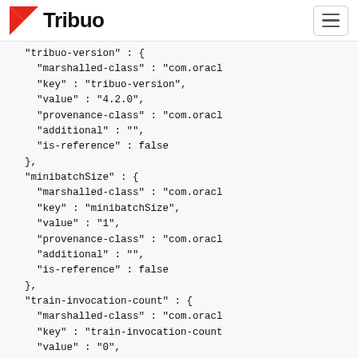Tribuo
"tribuo-version" : {
    "marshalled-class" : "com.oracl
    "key" : "tribuo-version",
    "value" : "4.2.0",
    "provenance-class" : "com.oracl
    "additional" : "",
    "is-reference" : false
},
"minibatchSize" : {
    "marshalled-class" : "com.oracl
    "key" : "minibatchSize",
    "value" : "1",
    "provenance-class" : "com.oracl
    "additional" : "",
    "is-reference" : false
},
"train-invocation-count" : {
    "marshalled-class" : "com.oracl
    "key" : "train-invocation-count
    "value" : "0",
    "provenance-class" :